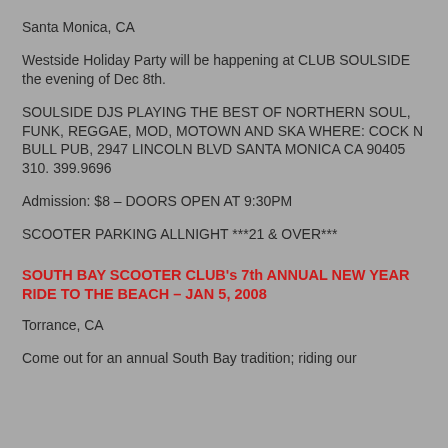Santa Monica, CA
Westside Holiday Party will be happening at CLUB SOULSIDE the evening of Dec 8th.
SOULSIDE DJS PLAYING THE BEST OF NORTHERN SOUL, FUNK, REGGAE, MOD, MOTOWN AND SKA WHERE: COCK N BULL PUB, 2947 LINCOLN BLVD SANTA MONICA CA 90405 310. 399.9696
Admission: $8 – DOORS OPEN AT 9:30PM
SCOOTER PARKING ALLNIGHT ***21 & OVER***
SOUTH BAY SCOOTER CLUB's 7th ANNUAL NEW YEAR RIDE TO THE BEACH – JAN 5, 2008
Torrance, CA
Come out for an annual South Bay tradition; riding our